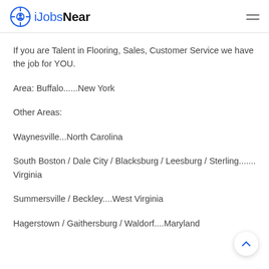iJobsNear
If you are Talent in Flooring, Sales, Customer Service we have the job for YOU.
Area: Buffalo......New York
Other Areas:
Waynesville...North Carolina
South Boston / Dale City / Blacksburg / Leesburg / Sterling.......Virginia
Summersville / Beckley....West Virginia
Hagerstown / Gaithersburg / Waldorf....Maryland